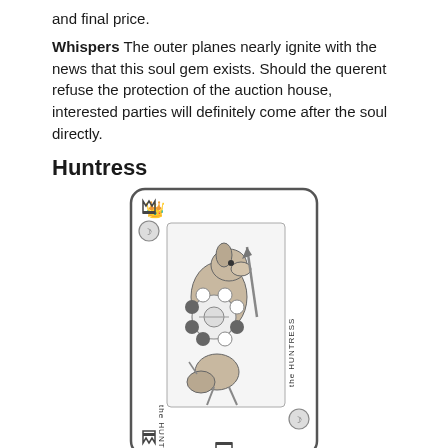and final price.
Whispers The outer planes nearly ignite with the news that this soul gem exists. Should the querent refuse the protection of the auction house, interested parties will definitely come after the soul directly.
Huntress
[Figure (illustration): A playing card illustration labeled 'the HUNTRESS' showing an anthropomorphic dog-like figure holding a spear, with moon symbols and a decorative card border. The card appears both right-side up and upside down.]
Rank/Suit Crown (moons)
Tags personality, ambivalent
Influence Move Once you have shed someone's